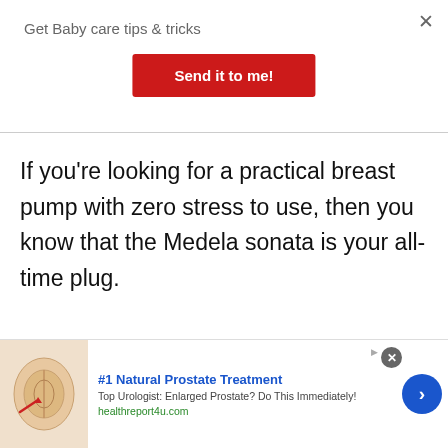Get Baby care tips & tricks
Send it to me!
If you're looking for a practical breast pump with zero stress to use, then you know that the Medela sonata is your all-time plug.
Pros:
[Figure (infographic): Advertisement banner: anatomical illustration of prostate with red arrow, text '#1 Natural Prostate Treatment', 'Top Urologist: Enlarged Prostate? Do This Immediately!', 'healthreport4u.com', with a blue circular arrow button on the right.]